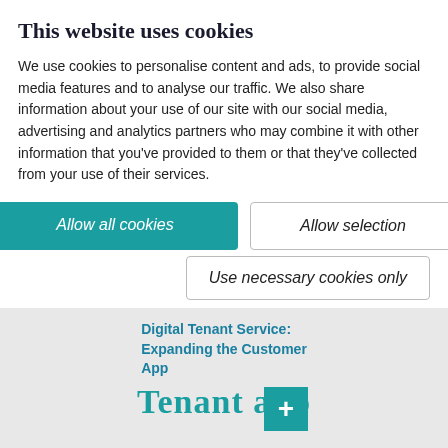This website uses cookies
We use cookies to personalise content and ads, to provide social media features and to analyse our traffic. We also share information about your use of our site with our social media, advertising and analytics partners who may combine it with other information that you've provided to them or that they've collected from your use of their services.
[Figure (screenshot): Cookie consent buttons: 'Allow all cookies' (teal), 'Allow selection' (outline), 'Use necessary cookies only' (outline)]
[Figure (screenshot): Checkbox row with Necessary (checked), Preferences, Statistics, Marketing checkboxes and Show details link]
Digital Tenant Service: Expanding the Customer App
Tenant app